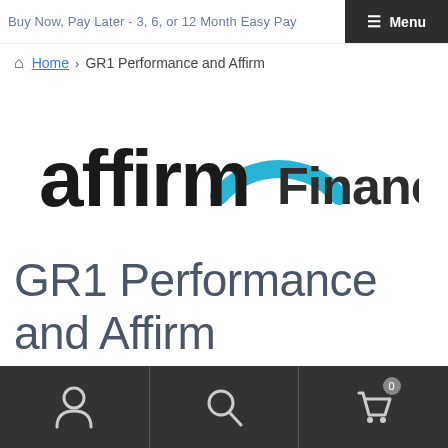Buy Now, Pay Later - 3, 6, or 12 Month Easy Pay
Home › GR1 Performance and Affirm
[Figure (logo): Affirm Financing logo: 'affirm' in black bold lowercase with a blue arc above the letter i, followed by 'Financing' in dark text]
GR1 Performance and Affirm